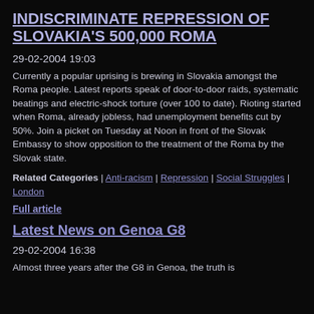INDISCRIMINATE REPRESSION OF SLOVAKIA'S 500,000 ROMA
29-02-2004 19:03
Currently a popular uprising is brewing in Slovakia amongst the Roma people. Latest reports speak of door-to-door raids, systematic beatings and electric-shock torture (over 100 to date). Rioting started when Roma, already jobless, had unemployment benefits cut by 50%. Join a picket on Tuesday at Noon in front of the Slovak Embassy to show opposition to the treatment of the Roma by the Slovak state.
Related Categories | Anti-racism | Repression | Social Struggles | London
Full article
Latest News on Genoa G8
29-02-2004 16:38
Almost three years after the G8 in Genoa, the truth is